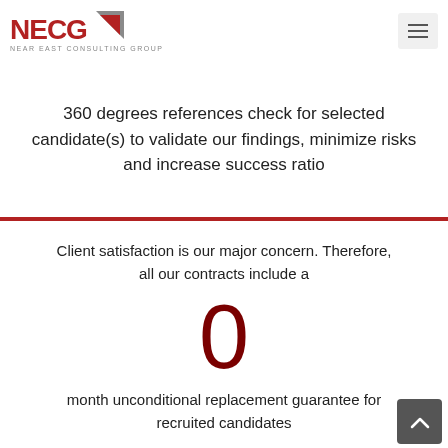NECG — NEAR EAST CONSULTING GROUP
360 degrees references check for selected candidate(s) to validate our findings, minimize risks and increase success ratio
Client satisfaction is our major concern. Therefore, all our contracts include a
0
month unconditional replacement guarantee for recruited candidates